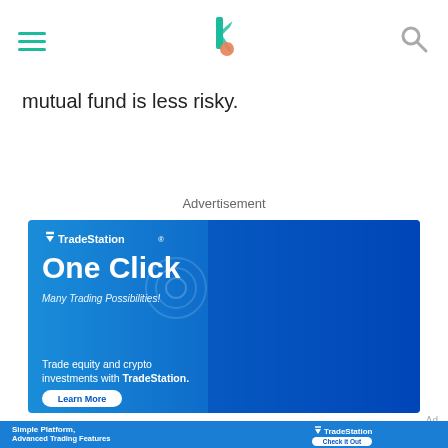Navigation header with hamburger menu, logo, and search icon
mutual fund is less risky.
Advertisement
[Figure (photo): TradeStation advertisement banner. Blue background with man pointing upward. Text: 'TradeStation One Click Many Trading Possibilities! Trade equity and crypto investments with TradeStation.' Button: 'Learn More']
Ad
[Figure (photo): TradeStation bottom banner ad. Text: 'Simple Platform, Advanced Trading Features. Trade multiple asset classes on mobile and desktop.' TradeStation logo with 'Check it Out' button.]